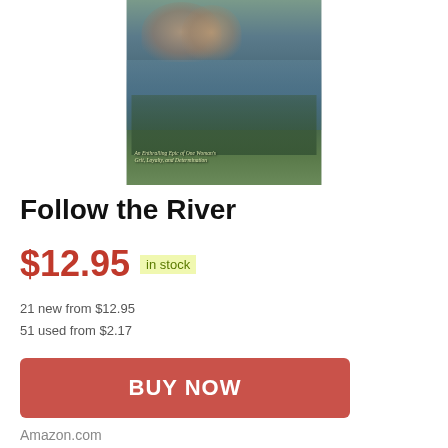[Figure (photo): Book cover of 'Follow the River' showing a historical scene with figures near a river, with text overlay 'An Enthralling Epic of One Woman's Grit, Loyalty, and Determination']
Follow the River
$12.95 in stock
21 new from $12.95
51 used from $2.17
BUY NOW
Amazon.com